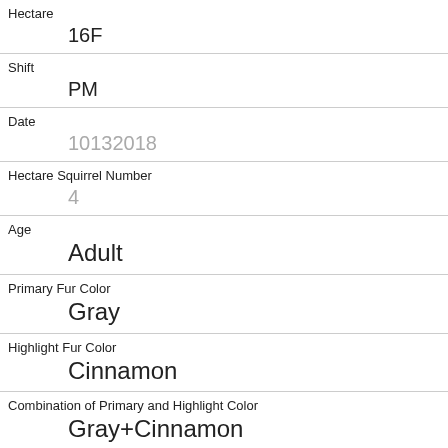Hectare
16F
Shift
PM
Date
10132018
Hectare Squirrel Number
4
Age
Adult
Primary Fur Color
Gray
Highlight Fur Color
Cinnamon
Combination of Primary and Highlight Color
Gray+Cinnamon
Color notes
Location
Above Ground
Above Ground Sighter Measurement